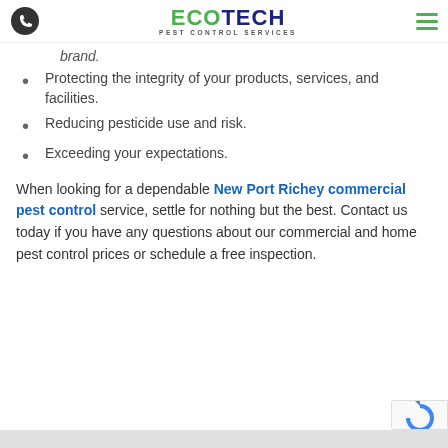ECOTECH PEST CONTROL SERVICES
brand.
Protecting the integrity of your products, services, and facilities.
Reducing pesticide use and risk.
Exceeding your expectations.
When looking for a dependable New Port Richey commercial pest control service, settle for nothing but the best. Contact us today if you have any questions about our commercial and home pest control prices or schedule a free inspection.